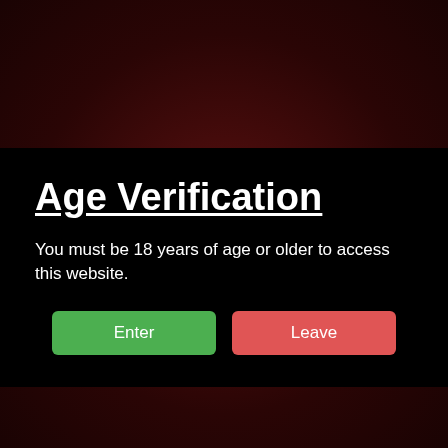Age Verification
You must be 18 years of age or older to access this website.
[Figure (screenshot): Two buttons side by side: a green 'Enter' button and a red 'Leave' button]